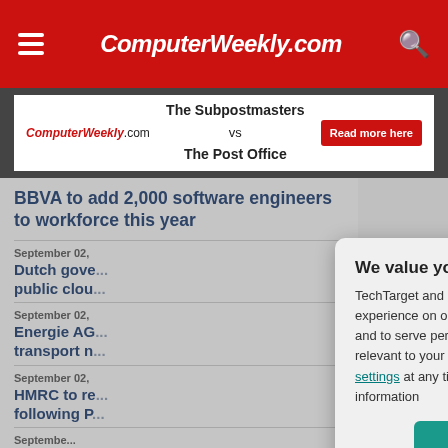ComputerWeekly.com
[Figure (screenshot): Advertisement banner: The Subpostmasters vs The Post Office - Read more here]
BBVA to add 2,000 software engineers to workforce this year
September 02,
Dutch gove... public clou...
September 02,
Energie AG... transport n...
September 02,
HMRC to re... following P...
We value your privacy.
TechTarget and its partners employ cookies to improve your experience on our site, to analyze traffic and performance, and to serve personalized content and advertising that are relevant to your professional interests. You can manage your settings at any time. Please view our Privacy Policy for more information